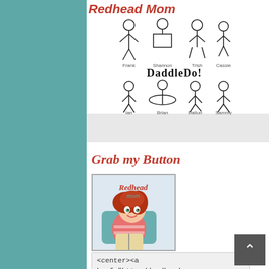Redhead Mom
[Figure (illustration): DaddleDo illustration showing stick-figure family members labeled Frank, Shannon, Trish, Cassie on top row and Ian, Brian, Dalton, Sammy on bottom row, with 'DaddleDo!' text in the middle]
Grab my Button
[Figure (logo): Redhead Mom logo/button image showing a cartoon redhead woman sitting in a chair reading, with 'Redhead mom' text]
<center><a href="http://redheadmom.com/" data-wpel-